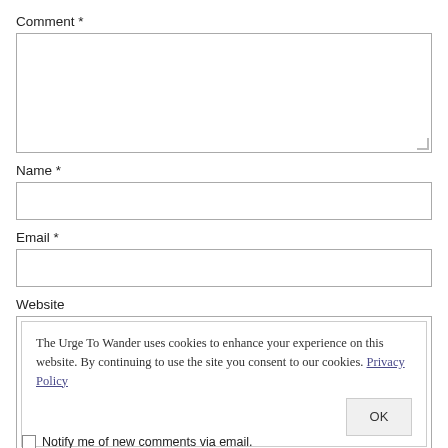Comment *
[Figure (other): Large textarea input for comment]
Name *
[Figure (other): Single-line text input for name]
Email *
[Figure (other): Single-line text input for email]
Website
[Figure (other): Website input box with cookie consent overlay. Text: The Urge To Wander uses cookies to enhance your experience on this website. By continuing to use the site you consent to our cookies. Privacy Policy. OK button.]
Notify me of new comments via email.